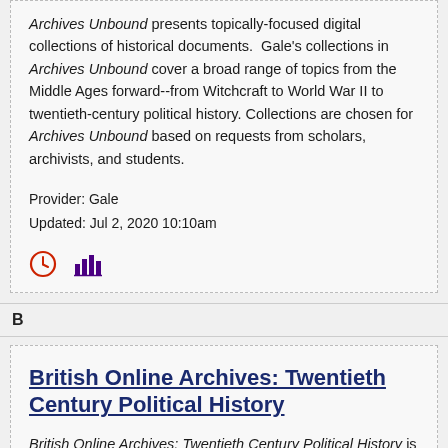Archives Unbound presents topically-focused digital collections of historical documents. Gale's collections in Archives Unbound cover a broad range of topics from the Middle Ages forward--from Witchcraft to World War II to twentieth-century political history. Collections are chosen for Archives Unbound based on requests from scholars, archivists, and students.
Provider: Gale
Updated: Jul 2, 2020 10:10am
[Figure (other): Clock icon and bar chart icon]
B
British Online Archives: Twentieth Century Political History
British Online Archives: Twentieth Century Political History is a thematic series contained as a sub-set within the digitized archival